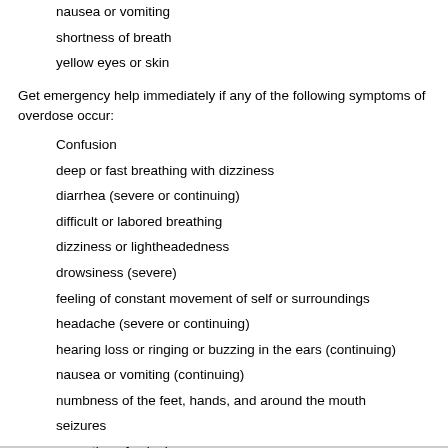nausea or vomiting
shortness of breath
yellow eyes or skin
Get emergency help immediately if any of the following symptoms of overdose occur:
Confusion
deep or fast breathing with dizziness
diarrhea (severe or continuing)
difficult or labored breathing
dizziness or lightheadedness
drowsiness (severe)
feeling of constant movement of self or surroundings
headache (severe or continuing)
hearing loss or ringing or buzzing in the ears (continuing)
nausea or vomiting (continuing)
numbness of the feet, hands, and around the mouth
seizures
sensation of spinning
sweating
tightness in the chest
wheezing